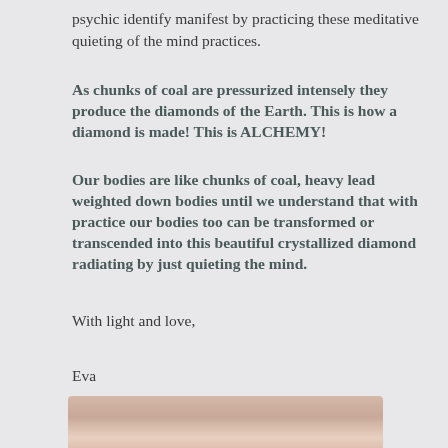psychic identify manifest by practicing these meditative quieting of the mind practices.
As chunks of coal are pressurized intensely they produce the diamonds of the Earth. This is how a diamond is made! This is ALCHEMY!
Our bodies are like chunks of coal, heavy lead weighted down bodies until we understand that with practice our bodies too can be transformed or transcended into this beautiful crystallized diamond radiating by just quieting the mind.
With light and love,
Eva
[Figure (photo): Bottom portion of a photo showing what appears to be a person's neck/chest area with soft lighting]